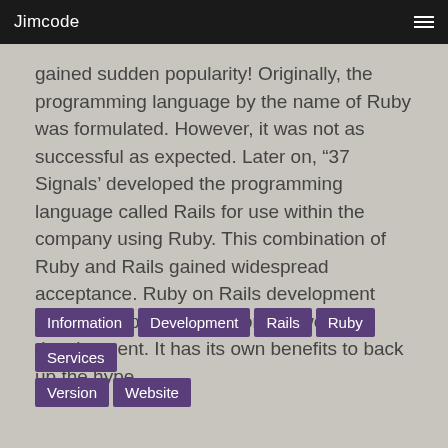Jimcode
gained sudden popularity! Originally, the programming language by the name of Ruby was formulated. However, it was not as successful as expected. Later on, “37 Signals’ developed the programming language called Rails for use within the company using Ruby. This combination of Ruby and Rails gained widespread acceptance. Ruby on Rails development became popular in the world of web development. It has its own benefits to back up the hype.
Information
Development
Rails
Ruby
Services
Version
Website